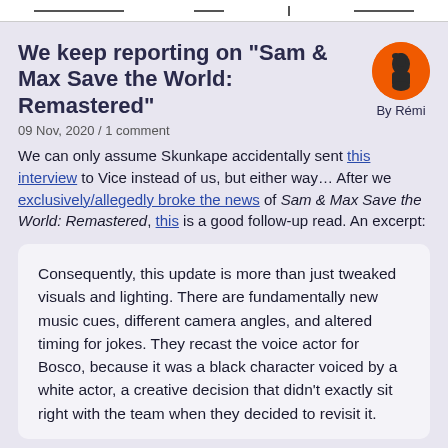— navigation links —
We keep reporting on “Sam & Max Save the World: Remastered”
09 Nov, 2020 / 1 comment
We can only assume Skunkape accidentally sent this interview to Vice instead of us, but either way… After we exclusively/allegedly broke the news of Sam & Max Save the World: Remastered, this is a good follow-up read. An excerpt:
Consequently, this update is more than just tweaked visuals and lighting. There are fundamentally new music cues, different camera angles, and altered timing for jokes. They recast the voice actor for Bosco, because it was a black character voiced by a white actor, a creative decision that didn’t exactly sit right with the team when they decided to revisit it.